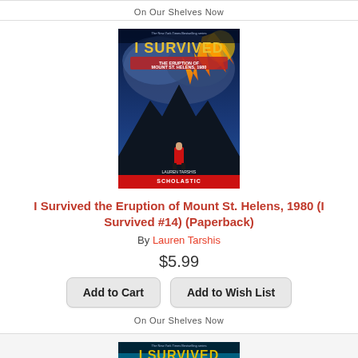On Our Shelves Now
[Figure (illustration): Book cover of 'I Survived the Eruption of Mount St. Helens, 1980' showing a figure standing against a volcanic eruption backdrop with fire and ash clouds, Scholastic publisher]
I Survived the Eruption of Mount St. Helens, 1980 (I Survived #14) (Paperback)
By Lauren Tarshis
$5.99
Add to Cart   Add to Wish List
On Our Shelves Now
[Figure (illustration): Partial book cover of a second 'I Survived' book showing a figure in water with ocean/tsunami scene, teal and blue tones, Scholastic publisher]